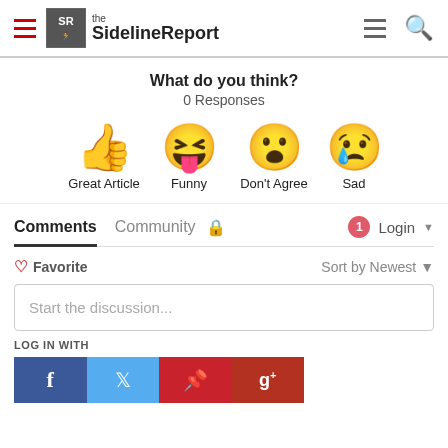[Figure (logo): The Sideline Report logo with hamburger menus and search icon in header]
What do you think?
0 Responses
[Figure (infographic): Four reaction emoji options: thumbs up (Great Article), laughing face (Funny), surprised face (Don't Agree), crying face (Sad)]
Comments  Community  🔒  1  Login ▾
♡ Favorite    Sort by Newest ▾
Start the discussion...
LOG IN WITH
[Figure (infographic): Social login buttons: Facebook (blue), Twitter (light blue), Pinterest (red), Google+ (dark red)]